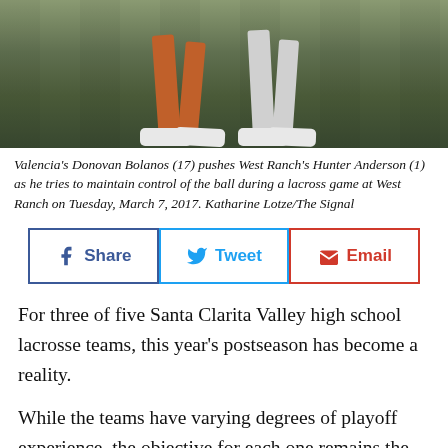[Figure (photo): Sports photo showing players' legs on a lacrosse field, one player wearing orange socks and white cleats, another in white. Green turf background.]
Valencia's Donovan Bolanos (17) pushes West Ranch's Hunter Anderson (1) as he tries to maintain control of the ball during a lacross game at West Ranch on Tuesday, March 7, 2017. Katharine Lotze/The Signal
[Figure (infographic): Social share buttons: Share (Facebook, blue), Tweet (Twitter, light blue), Email (red)]
For three of five Santa Clarita Valley high school lacrosse teams, this year's postseason has become a reality.
While the teams have varying degrees of playoff experience, the objective for each one remains the